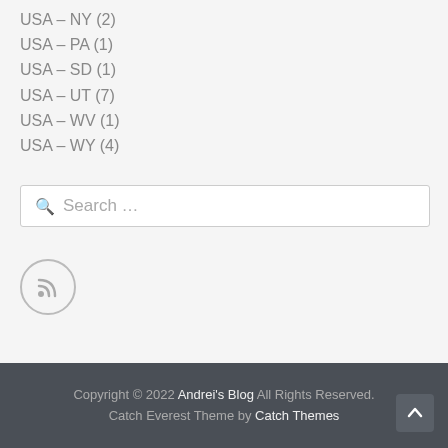USA – NY (2)
USA – PA (1)
USA – SD (1)
USA – UT (7)
USA – WV (1)
USA – WY (4)
Search …
[Figure (other): RSS feed icon — circular button with RSS signal symbol]
G Select Language ▼
Copyright © 2022 Andrei's Blog All Rights Reserved. Catch Everest Theme by Catch Themes